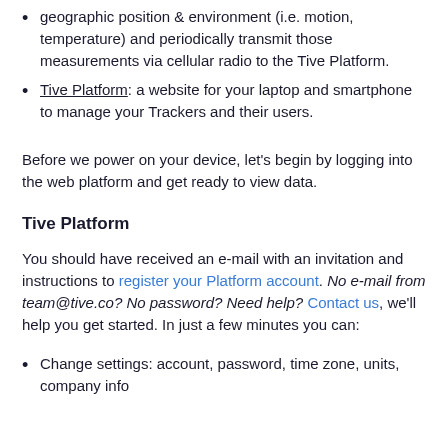geographic position & environment (i.e. motion, temperature) and periodically transmit those measurements via cellular radio to the Tive Platform.
Tive Platform: a website for your laptop and smartphone to manage your Trackers and their users.
Before we power on your device, let's begin by logging into the web platform and get ready to view data.
Tive Platform
You should have received an e-mail with an invitation and instructions to register your Platform account. No e-mail from team@tive.co? No password? Need help? Contact us, we'll help you get started. In just a few minutes you can:
Change settings: account, password, time zone, units, company info